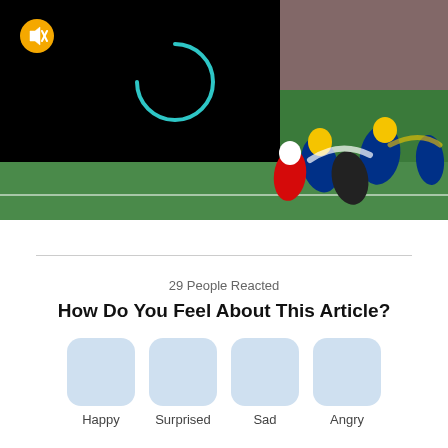[Figure (screenshot): Football game video player screenshot. Left portion shows a black video loading screen with a yellow mute button (speaker with X) in the top-left and a teal/cyan circular loading spinner in the center. Right portion shows a live football game with players in blue/yellow (Rams) and red/white (Buccaneers) uniforms in action on green field with crowd in background.]
29 People Reacted
How Do You Feel About This Article?
Happy
Surprised
Sad
Angry